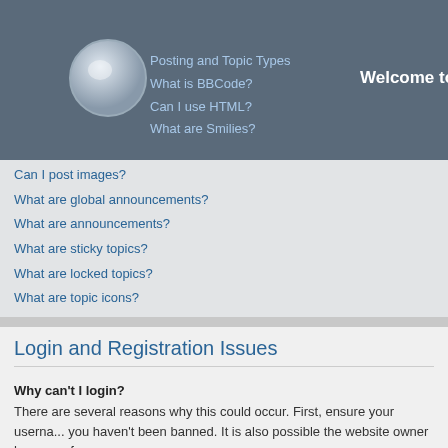Posting and Topic Types · What is BBCode? · Can I use HTML? · What are Smilies? · Welcome to Timbre du monde. Click
Can I post images?
What are global announcements?
What are announcements?
What are sticky topics?
What are locked topics?
What are topic icons?
Login and Registration Issues
Why can't I login?
There are several reasons why this could occur. First, ensure your userna... you haven't been banned. It is also possible the website owner has a conf...
Top
Why do I need to register at all?
You may not have to, it is up to the administrator of the board as to whethe... you access to additional features not available to guest users such as defi... subscription, etc. It only takes a few moments to register so it is recomme...
Top